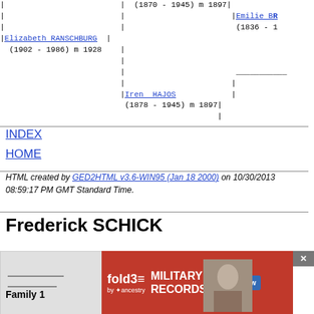[Figure (other): Genealogy tree diagram showing Elizabeth RANSCHBURG (1902-1986) m 1928, with connections to ancestors including a person (1870-1945) m 1897, Emilie BR (1836-?), and Iren HAJOS (1878-1945) m 1897]
INDEX
HOME
HTML created by GED2HTML v3.6-WIN95 (Jan 18 2000) on 10/30/2013 08:59:17 PM GMT Standard Time.
Frederick SCHICK
Family 1
[Figure (other): fold3 by Ancestry advertisement banner for Military Records with Search Now button and a vintage military photo]